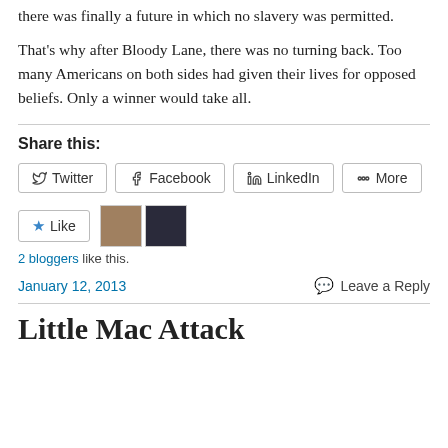there was finally a future in which no slavery was permitted.
That's why after Bloody Lane, there was no turning back. Too many Americans on both sides had given their lives for opposed beliefs. Only a winner would take all.
Share this:
Twitter  Facebook  LinkedIn  More
Like  2 bloggers like this.
January 12, 2013  Leave a Reply
Little Mac Attack